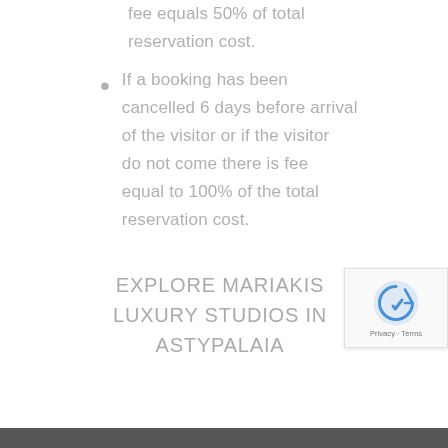fee equals 50% of total reservation cost.
If a booking has been cancelled 6 days before arrival of the visitor or if the visitor do not come there is fee equal to 100% of the total reservation cost.
EXPLORE MARIAKIS LUXURY STUDIOS IN ASTYPALAIA